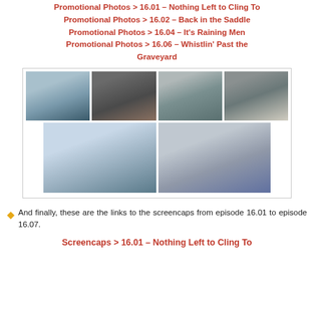Promotional Photos > 16.01 – Nothing Left to Cling To
Promotional Photos > 16.02 – Back in the Saddle
Promotional Photos > 16.04 – It's Raining Men
Promotional Photos > 16.06 – Whistlin' Past the Graveyard
[Figure (photo): Grid of 6 promotional photos from a medical TV show featuring actors in doctor coats and casual clothing, arranged in two rows]
And finally, these are the links to the screencaps from episode 16.01 to episode 16.07.
Screencaps > 16.01 – Nothing Left to Cling To